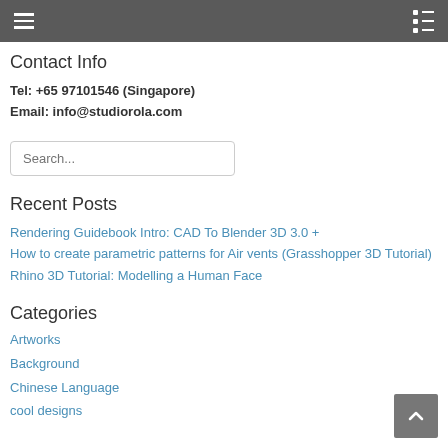Navigation header bar with hamburger menu and list icon
Contact Info
Tel: +65 97101546 (Singapore)
Email: info@studiorola.com
Recent Posts
Rendering Guidebook Intro: CAD To Blender 3D 3.0 +
How to create parametric patterns for Air vents (Grasshopper 3D Tutorial)
Rhino 3D Tutorial: Modelling a Human Face
Categories
Artworks
Background
Chinese Language
cool designs